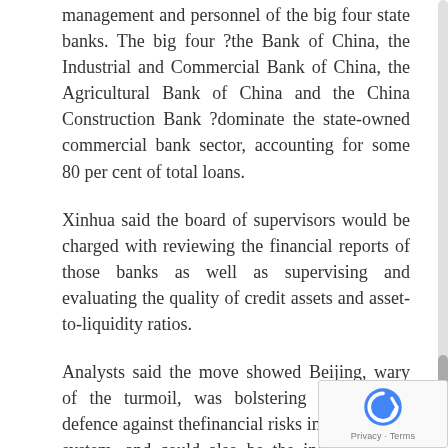management and personnel of the big four state banks. The big four ?the Bank of China, the Industrial and Commercial Bank of China, the Agricultural Bank of China and the China Construction Bank ?dominate the state-owned commercial bank sector, accounting for some 80 per cent of total loans.
Xinhua said the board of supervisors would be charged with reviewing the financial reports of those banks as well as supervising and evaluating the quality of credit assets and asset-to-liquidity ratios.
Analysts said the move showed Beijing, wary of the turmoil, was bolstering its lines of defence against thefinancial risks in the banking system, and could also be the instrument for overseeing the transformation of the big four banks into commercial entities.
Loans gone bad are at the heart of rotting banking and financial systems in parts of Southeast Asia, as well as Japan and South Korea where the problem is